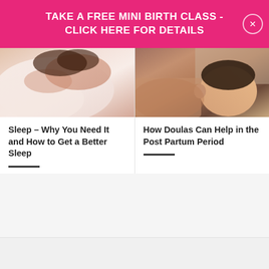TAKE A FREE MINI BIRTH CLASS - CLICK HERE FOR DETAILS
[Figure (photo): Person sleeping in bed with white/pink bedding, close-up view]
Sleep – Why You Need It and How to Get a Better Sleep
[Figure (photo): Baby breastfeeding or close to mother's chest, close-up of infant's head and dark hair]
How Doulas Can Help in the Post Partum Period